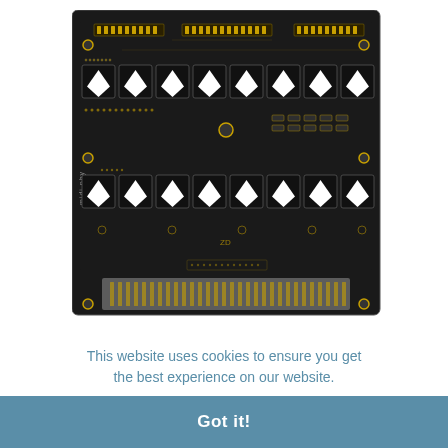[Figure (photo): A black PCB (printed circuit board) labeled 'midi phy' with two rows of square button/LED cutouts, gold through-hole pads, connectors along the top, and various electronic components. The board has a rectangular layout with 8 cutouts per row.]
This website uses cookies to ensure you get the best experience on our website.
Learn more
[Figure (photo): Small thumbnail image of a circuit board connector strip]
[Figure (photo): Small thumbnail image of a circuit board connector strip]
Got it!